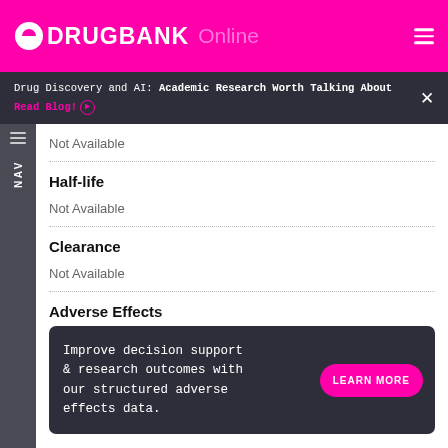DRUGBANK Online
Drug Discovery and AI: Academic Research Worth Talking About Read Blog!
Not Available
Half-life
Not Available
Clearance
Not Available
Adverse Effects
Improve decision support & research outcomes with our structured adverse effects data.